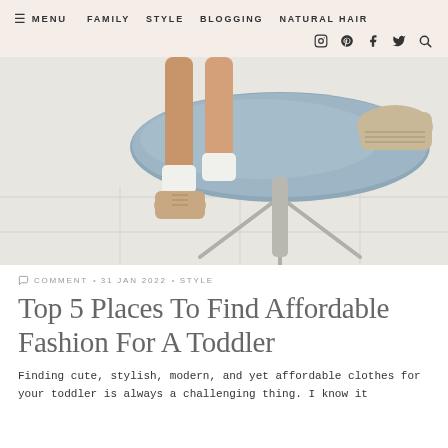≡ MENU   FAMILY   STYLE   BLOGGING   NATURAL HAIR
[Figure (photo): Close-up photo of a toddler's legs dangling from a blue upholstered stool, wearing white socks and beige lace-up ankle boots, with another shoe resting on the stool. White tile floor with metal stool base visible.]
COMMENT • 31 JAN 2022 • STYLE
Top 5 Places To Find Affordable Fashion For A Toddler
Finding cute, stylish, modern, and yet affordable clothes for your toddler is always a challenging thing. I know it